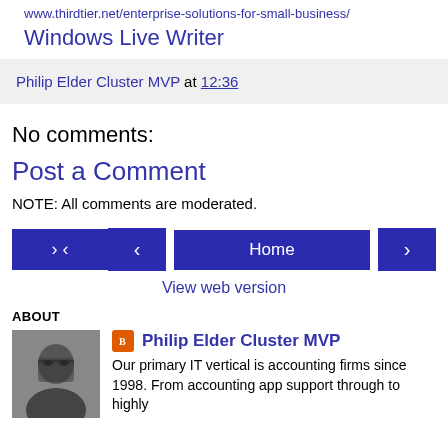www.thirdtier.net/enterprise-solutions-for-small-business/
Windows Live Writer
Philip Elder Cluster MVP at 12:36
No comments:
Post a Comment
NOTE: All comments are moderated.
[Figure (other): Navigation bar with back arrow button, Home button, and forward arrow button]
View web version
ABOUT
[Figure (photo): Profile photo of Philip Elder Cluster MVP, a man wearing glasses and a dark shirt]
Philip Elder Cluster MVP
Our primary IT vertical is accounting firms since 1998. From accounting app support through to highly